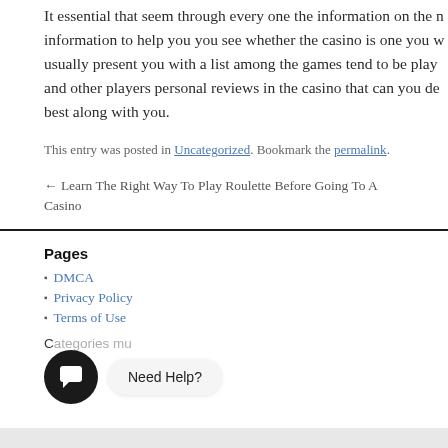It essential that seem through every one the information on the information to help you you see whether the casino is one you usually present you with a list among the games tend to be played and other players personal reviews in the casino that can you de best along with you.
This entry was posted in Uncategorized. Bookmark the permalink.
← Learn The Right Way To Play Roulette Before Going To A Casino
Pages
DMCA
Privacy Policy
Terms of Use
Need Help?